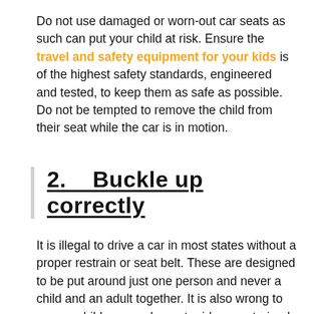Do not use damaged or worn-out car seats as such can put your child at risk. Ensure the travel and safety equipment for your kids is of the highest safety standards, engineered and tested, to keep them as safe as possible. Do not be tempted to remove the child from their seat while the car is in motion.
2.    Buckle up correctly
It is illegal to drive a car in most states without a proper restrain or seat belt. These are designed to be put around just one person and never a child and an adult together. It is also wrong to carry a child on your lap or to ride unrestrained, as such a child can end up causing injury to themselves or others. Any child under 14 should always ride in a